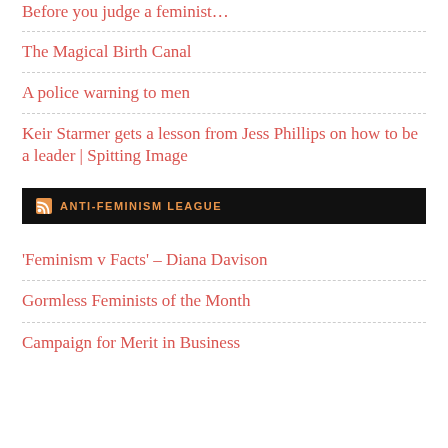Before you judge a feminist…
The Magical Birth Canal
A police warning to men
Keir Starmer gets a lesson from Jess Phillips on how to be a leader | Spitting Image
[Figure (logo): RSS feed bar with orange RSS icon and text 'ANTI-FEMINISM LEAGUE' on black background]
'Feminism v Facts' – Diana Davison
Gormless Feminists of the Month
Campaign for Merit in Business